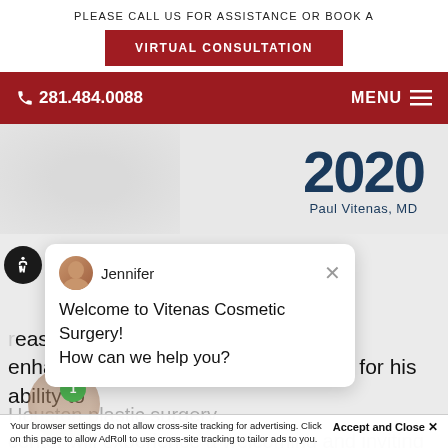PLEASE CALL US FOR ASSISTANCE OR BOOK A
VIRTUAL CONSULTATION
281.484.0088
MENU
2020
Paul Vitenas, MD
Jennifer
Welcome to Vitenas Cosmetic Surgery! How can we help you?
reast enhancement specialist. He is known for his ability to
Accept and Close
Your browser settings do not allow cross-site tracking for advertising. Click on this page to allow AdRoll to use cross-site tracking to tailor ads to you. Learn more or opt out of this AdRoll tracking by clicking here. This message only appears once.
Houston plastic surgery center will experience a welcoming and inviting